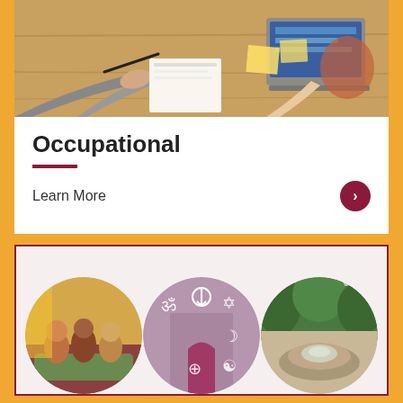[Figure (photo): Overhead view of people at a desk collaborating with laptop, notebooks, and papers]
Occupational
Learn More
[Figure (photo): Three circular images: left shows students in a lounge area socializing, center shows religious symbols overlay on an archway, right shows an outdoor garden or water feature]